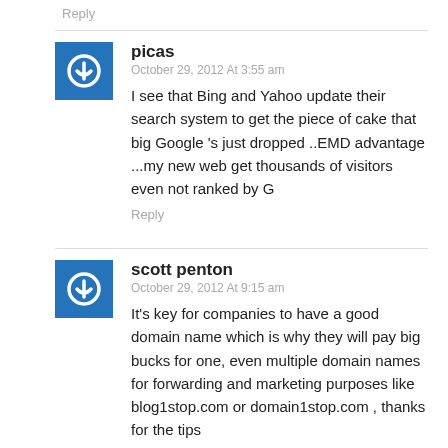Reply
picas
October 29, 2012 At 3:55 am
I see that Bing and Yahoo update their search system to get the piece of cake that big Google 's just dropped ..EMD advantage ...my new web get thousands of visitors even not ranked by G
Reply
scott penton
October 29, 2012 At 9:15 am
It's key for companies to have a good domain name which is why they will pay big bucks for one, even multiple domain names for forwarding and marketing purposes like blog1stop.com or domain1stop.com , thanks for the tips
Reply